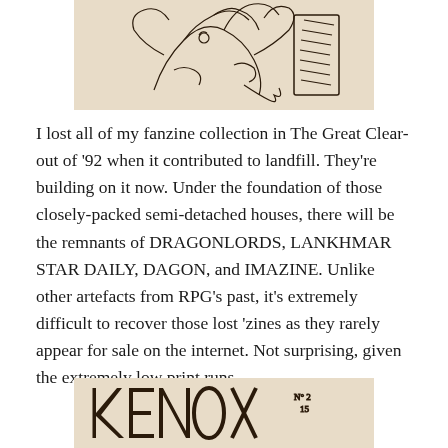[Figure (illustration): Black and white ink drawing of a fantasy creature or figure, cropped at top of page]
I lost all of my fanzine collection in The Great Clear-out of '92 when it contributed to landfill. They're building on it now. Under the foundation of those closely-packed semi-detached houses, there will be the remnants of DRAGONLORDS, LANKHMAR STAR DAILY, DAGON, and IMAZINE. Unlike other artefacts from RPG's past, it's extremely difficult to recover those lost 'zines as they rarely appear for sale on the internet. Not surprising, given the extremely low print runs.
[Figure (illustration): Partial view of a fanzine cover with stylized lettering reading KENOX or similar, with 'N° 2' and '15' visible, on aged/cream paper]